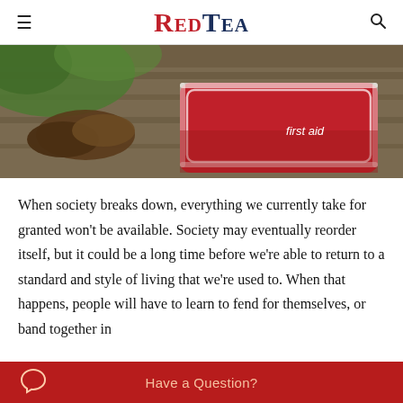≡ REDTEA 🔍
[Figure (photo): A red first aid kit bag on a wooden surface with brown boots visible, labeled 'first aid' in white text on the bag.]
When society breaks down, everything we currently take for granted won't be available. Society may eventually reorder itself, but it could be a long time before we're able to return to a standard and style of living that we're used to. When that happens, people will have to learn to fend for themselves, or band together in
Have a Question?